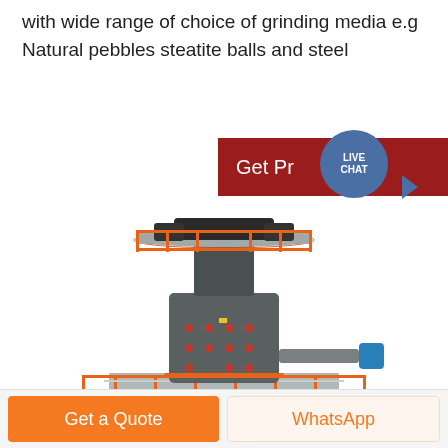with wide range of choice of grinding media e.g Natural pebbles steatite balls and steel
[Figure (photo): Industrial vertical grinding mill machine with orange safety railings/platforms at multiple levels, cylindrical body, and mechanical components including a horizontal shaft with blue coupling on the right side]
Get Pr
LIVE
CHAT
Get a Quote
WhatsApp